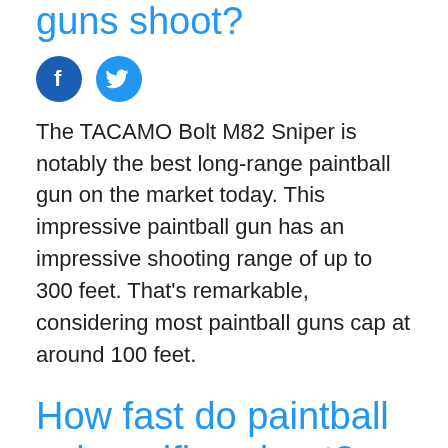guns shoot?
[Figure (other): Facebook and Twitter social share icons]
The TACAMO Bolt M82 Sniper is notably the best long-range paintball gun on the market today. This impressive paintball gun has an impressive shooting range of up to 300 feet. That's remarkable, considering most paintball guns cap at around 100 feet.
How fast do paintball sniper rifles shoot?
[Figure (other): Facebook and Twitter social share icons]
Averagely, a long rifle can shoot at the speed of 1,260 fps or 856.8 mph or 1382 km/h whereas paintball guns on average can shoot at 280 fps